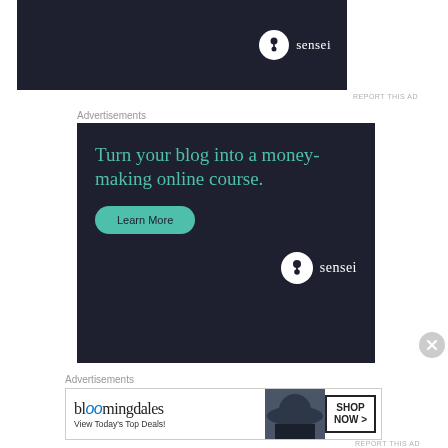[Figure (screenshot): Dark navy advertisement banner for Sensei with logo at bottom right]
REPORT THIS AD
Advertisements
[Figure (screenshot): Dark navy Sensei advertisement: 'Turn your blog into a money-making online course.' with teal Learn More button and Sensei logo]
[Figure (screenshot): Bloomingdales advertisement: 'View Today's Top Deals!' with SHOP NOW button and woman in hat photo]
Advertisements